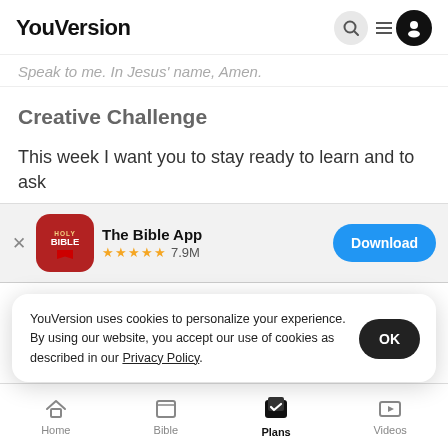YouVersion
Speak to me. In Jesus' name, Amen.
Creative Challenge
This week I want you to stay ready to learn and to ask
[Figure (screenshot): The Bible App banner with icon, 4.5 star rating, 7.9M reviews, and a Download button]
open to what He is trying to teach you and have fun. Go out there
YouVersion uses cookies to personalize your experience. By using our website, you accept our use of cookies as described in our Privacy Policy.
Home  Bible  Plans  Videos